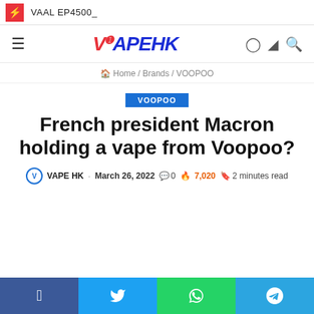VAAL EP4500_
[Figure (logo): VAPE HK website logo with navigation icons (hamburger menu, user icon, moon icon, search icon)]
Home / Brands / VOOPOO
VOOPOO
French president Macron holding a vape from Voopoo?
VAPE HK · March 26, 2022 · 0 · 7,020 · 2 minutes read